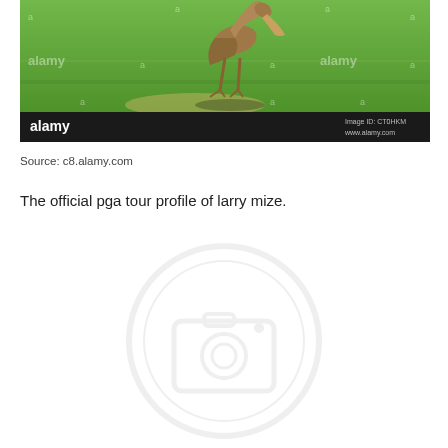[Figure (photo): A flamingo or crane-like bird on green grass, with Alamy watermark overlaid. Black bar at bottom shows Alamy logo and Image ID: CT0HKM, www.alamy.com]
Source: c8.alamy.com
The official pga tour profile of larry mize.
[Figure (other): Blurred watermark/logo graphic at bottom of page]